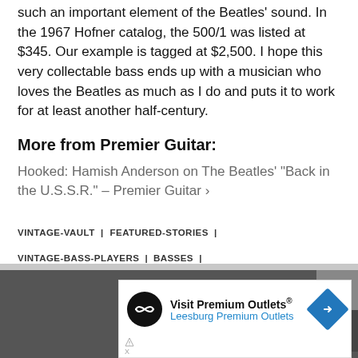such an important element of the Beatles' sound. In the 1967 Hofner catalog, the 500/1 was listed at $345. Our example is tagged at $2,500. I hope this very collectable bass ends up with a musician who loves the Beatles as much as I do and puts it to work for at least another half-century.
More from Premier Guitar:
Hooked: Hamish Anderson on The Beatles' "Back in the U.S.S.R." – Premier Guitar ›
VINTAGE-VAULT | FEATURED-STORIES | VINTAGE-BASS-PLAYERS | BASSES | GEAR
[Figure (infographic): Visit Premium Outlets advertisement banner with logo, Leesburg Premium Outlets text, and navigation arrow icon]